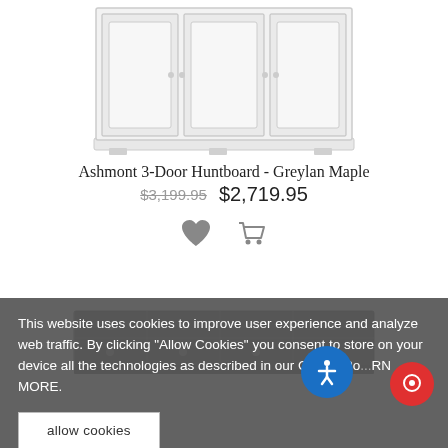[Figure (photo): White 3-door huntboard furniture cabinet, partially cropped at top]
Ashmont 3-Door Huntboard - Greylan Maple
$3,199.95  $2,719.95
[Figure (illustration): Heart icon (wishlist) and shopping cart icon]
[Figure (photo): Dark brown dresser with multiple drawers, partially visible at bottom]
This website uses cookies to improve user experience and analyze web traffic. By clicking "Allow Cookies" you consent to store on your device all the technologies as described in our Cookie Po... RN MORE.
allow cookies